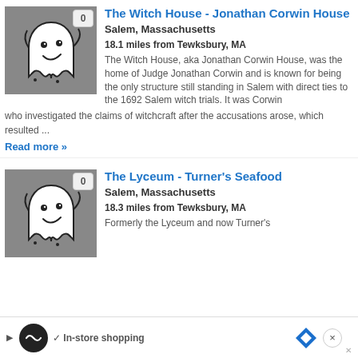[Figure (illustration): Ghost cartoon icon on grey background with badge showing 0]
The Witch House - Jonathan Corwin House
Salem, Massachusetts
18.1 miles from Tewksbury, MA
The Witch House, aka Jonathan Corwin House, was the home of Judge Jonathan Corwin and is known for being the only structure still standing in Salem with direct ties to the 1692 Salem witch trials. It was Corwin who investigated the claims of witchcraft after the accusations arose, which resulted ...
Read more »
[Figure (illustration): Ghost cartoon icon on grey background with badge showing 0]
The Lyceum - Turner's Seafood
Salem, Massachusetts
18.3 miles from Tewksbury, MA
Formerly the Lyceum and now Turner's
In-store shopping